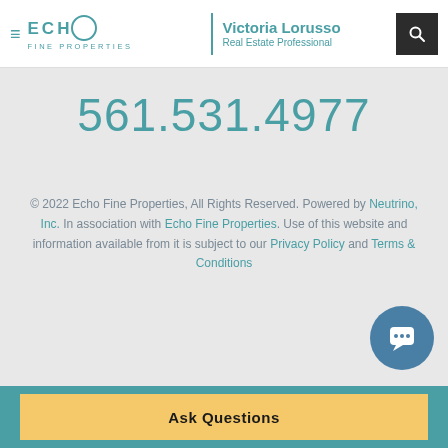ECHO FINE PROPERTIES | Victoria Lorusso Real Estate Professional
561.531.4977
© 2022 Echo Fine Properties, All Rights Reserved. Powered by Neutrino, Inc. In association with Echo Fine Properties. Use of this website and information available from it is subject to our Privacy Policy and Terms & Conditions
Ask Questions